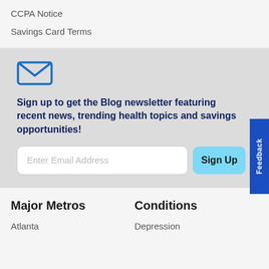CCPA Notice
Savings Card Terms
Sign up to get the Blog newsletter featuring recent news, trending health topics and savings opportunities!
Enter Email Address
Sign Up
Feedback
Major Metros
Conditions
Atlanta
Depression